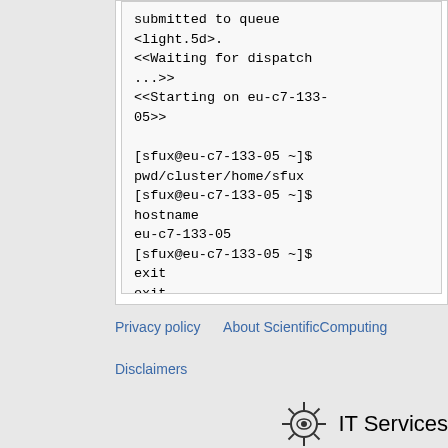submitted to queue <light.5d>.
<<Waiting for dispatch ...>>
<<Starting on eu-c7-133-05>>

[sfux@eu-c7-133-05 ~]$ pwd/cluster/home/sfux
[sfux@eu-c7-133-05 ~]$ hostname
eu-c7-133-05
[sfux@eu-c7-133-05 ~]$ exit
exit
[sfux@eu-login-03 ~]$
Privacy policy   About ScientificComputing   Disclaimers
[Figure (logo): IT Services logo with starburst/gear icon and text 'IT Services']